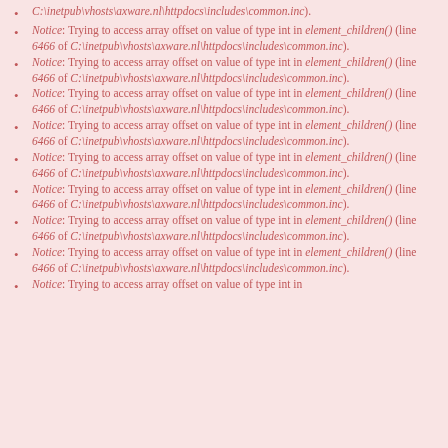C:\inetpub\vhosts\axware.nl\httpdocs\includes\common.inc).
Notice: Trying to access array offset on value of type int in element_children() (line 6466 of C:\inetpub\vhosts\axware.nl\httpdocs\includes\common.inc).
Notice: Trying to access array offset on value of type int in element_children() (line 6466 of C:\inetpub\vhosts\axware.nl\httpdocs\includes\common.inc).
Notice: Trying to access array offset on value of type int in element_children() (line 6466 of C:\inetpub\vhosts\axware.nl\httpdocs\includes\common.inc).
Notice: Trying to access array offset on value of type int in element_children() (line 6466 of C:\inetpub\vhosts\axware.nl\httpdocs\includes\common.inc).
Notice: Trying to access array offset on value of type int in element_children() (line 6466 of C:\inetpub\vhosts\axware.nl\httpdocs\includes\common.inc).
Notice: Trying to access array offset on value of type int in element_children() (line 6466 of C:\inetpub\vhosts\axware.nl\httpdocs\includes\common.inc).
Notice: Trying to access array offset on value of type int in element_children() (line 6466 of C:\inetpub\vhosts\axware.nl\httpdocs\includes\common.inc).
Notice: Trying to access array offset on value of type int in element_children() (line 6466 of C:\inetpub\vhosts\axware.nl\httpdocs\includes\common.inc).
Notice: Trying to access array offset on value of type int in